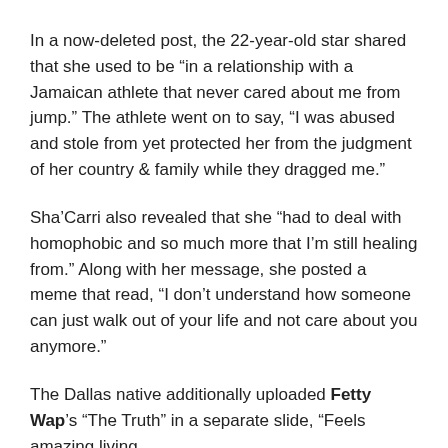In a now-deleted post, the 22-year-old star shared that she used to be “in a relationship with a Jamaican athlete that never cared about me from jump.” The athlete went on to say, “I was abused and stole from yet protected her from the judgment of her country & family while they dragged me.”
Sha’Carri also revealed that she “had to deal with homophobic and so much more that I’m still healing from.” Along with her message, she posted a meme that read, “I don’t understand how someone can just walk out of your life and not care about you anymore.”
The Dallas native additionally uploaded Fetty Wap’s “The Truth” in a separate slide, “Feels amazing living